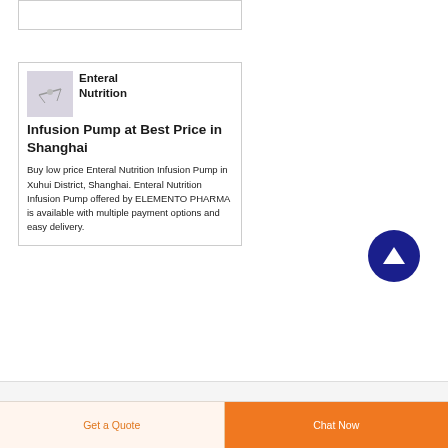[Figure (photo): Product listing card for Enteral Nutrition Infusion Pump with thumbnail image]
Enteral Nutrition Infusion Pump at Best Price in Shanghai
Buy low price Enteral Nutrition Infusion Pump in Xuhui District, Shanghai. Enteral Nutrition Infusion Pump offered by ELEMENTO PHARMA is available with multiple payment options and easy delivery.
[Figure (other): Scroll to top button - dark blue circle with upward arrow]
Get a Quote
Chat Now